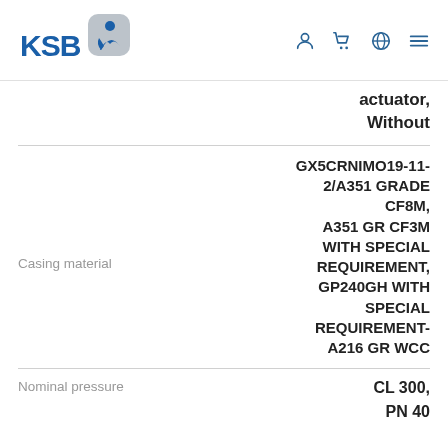[Figure (logo): KSB company logo with stylized blue figure]
actuator, Without
Casing material
Nominal pressure